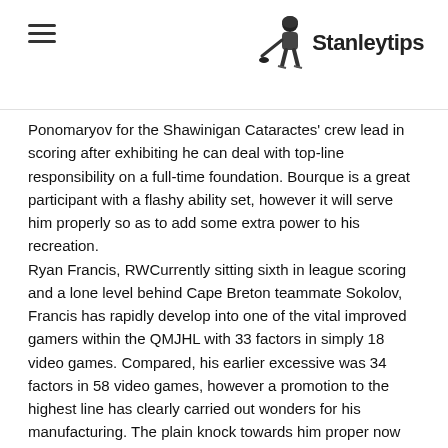Stanleytips
Ponomaryov for the Shawinigan Cataractes' crew lead in scoring after exhibiting he can deal with top-line responsibility on a full-time foundation. Bourque is a great participant with a flashy ability set, however it will serve him properly so as to add some extra power to his recreation. Ryan Francis, RWCurrently sitting sixth in league scoring and a lone level behind Cape Breton teammate Sokolov, Francis has rapidly develop into one of the vital improved gamers within the QMJHL with 33 factors in simply 18 video games. Compared, his earlier excessive was 34 factors in 58 video games, however a promotion to the highest line has clearly carried out wonders for his manufacturing. The plain knock towards him proper now could be the truth that he's simply 5-foot-Eight and 176 kilos and he's vulnerable to be pushed round, however he's obtained a unbelievable launch on his wrist shot and is likely to be one of many hardest-working forwards within the QMJHL with an explosive first stride to win most puck races. It is a excellent alternative to assist